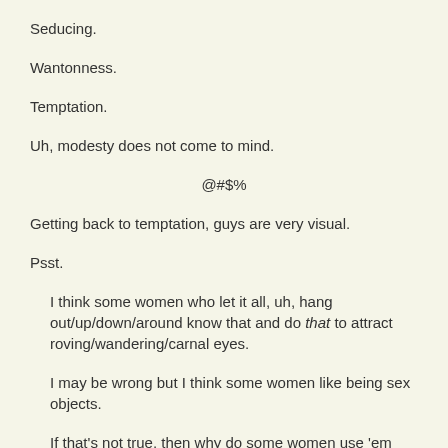Seducing.
Wantonness.
Temptation.
Uh, modesty does not come to mind.
@#$%
Getting back to temptation, guys are very visual.
Psst.
I think some women who let it all, uh, hang out/up/down/around know that and do that to attract roving/wandering/carnal eyes.
I may be wrong but I think some women like being sex objects.
If that's not true, then why do some women use 'em like eye candy?
See how easily it is drift from...?